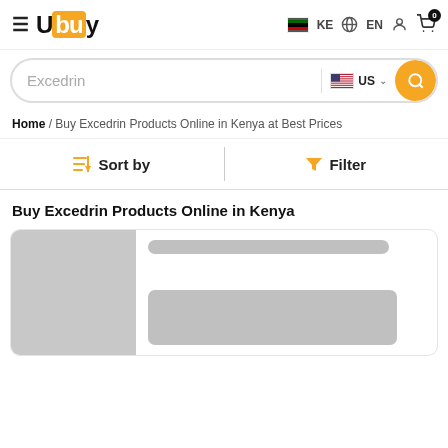Ubuy — KE EN header with cart
Excedrin — US search bar
Home / Buy Excedrin Products Online in Kenya at Best Prices
Sort by   Filter
Buy Excedrin Products Online in Kenya
[Figure (screenshot): Loading product card with grey image placeholder on the left and grey title/price bar placeholders on the right]